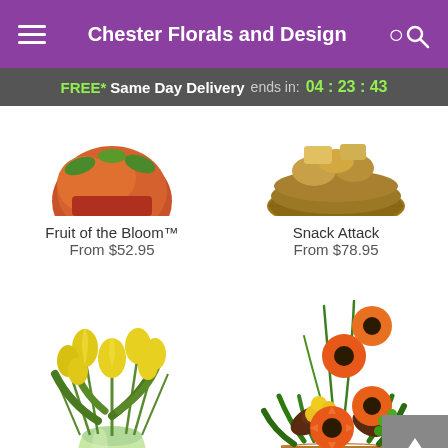Chester Florals and Design
FREE* Same Day Delivery ends in: 04:23:43
[Figure (photo): Partial top view of fruit arrangement with orange/red tones]
Fruit of the Bloom™
From $52.95
[Figure (photo): Partial top view of snack arrangement in wicker basket]
Snack Attack
From $78.95
[Figure (photo): Yellow tulips in a light green vase]
[Figure (photo): Orange gerbera daisy arrangement with yellow and dark flowers in a basket]